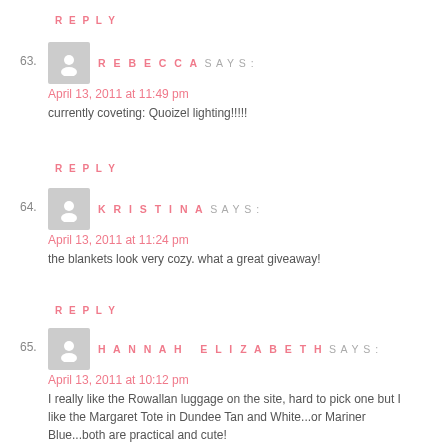REPLY
63. REBECCA SAYS:
April 13, 2011 at 11:49 pm
currently coveting: Quoizel lighting!!!!!
REPLY
64. KRISTINA SAYS:
April 13, 2011 at 11:24 pm
the blankets look very cozy. what a great giveaway!
REPLY
65. HANNAH ELIZABETH SAYS:
April 13, 2011 at 10:12 pm
I really like the Rowallan luggage on the site, hard to pick one but I like the Margaret Tote in Dundee Tan and White...or Mariner Blue...both are practical and cute! I subscribe, follow you on twitter (@hannahetravis) and like you on facebook (Hannah Travis).